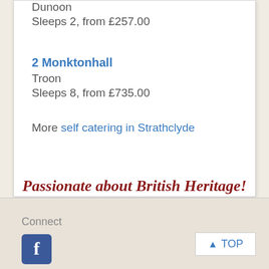Dunoon
Sleeps 2, from £257.00
2 Monktonhall
Troon
Sleeps 8, from £735.00
More self catering in Strathclyde
Passionate about British Heritage!
Connect
[Figure (logo): Facebook logo icon, blue square with white f]
TOP